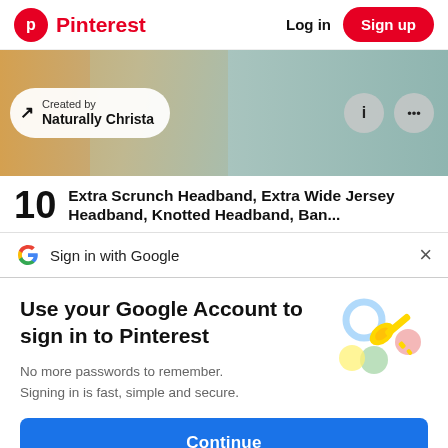[Figure (screenshot): Pinterest website header with logo, Log in text, and red Sign up button]
[Figure (photo): Cropped background photo showing blond hair and teal fabric with 'Created by Naturally Christa' badge and info/menu icon circles]
10  Extra Scrunch Headband, Extra Wide Jersey Headband, Knotted Headband, Banana...
[Figure (screenshot): Google Sign-in with Google bar with G logo and close X button]
Use your Google Account to sign in to Pinterest
No more passwords to remember. Signing in is fast, simple and secure.
[Figure (illustration): Google key illustration with colorful circles and golden key]
Continue